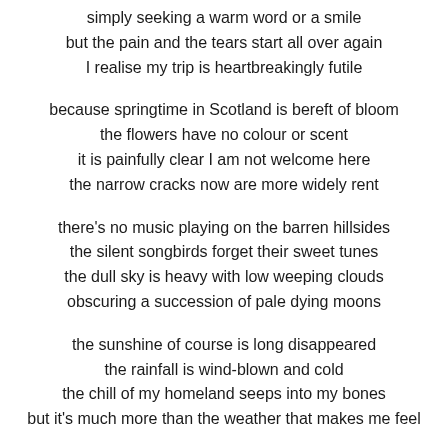simply seeking a warm word or a smile
but the pain and the tears start all over again
I realise my trip is heartbreakingly futile

because springtime in Scotland is bereft of bloom
the flowers have no colour or scent
it is painfully clear I am not welcome here
the narrow cracks now are more widely rent

there's no music playing on the barren hillsides
the silent songbirds forget their sweet tunes
the dull sky is heavy with low weeping clouds
obscuring a succession of pale dying moons

the sunshine of course is long disappeared
the rainfall is wind-blown and cold
the chill of my homeland seeps into my bones
but it's much more than the weather that makes me feel